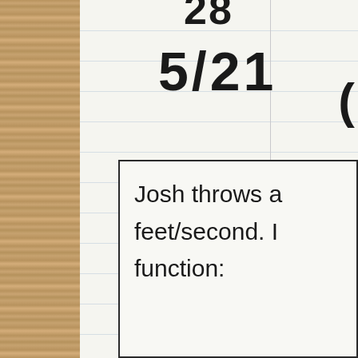28
5/21
Josh throws a feet/second. function: